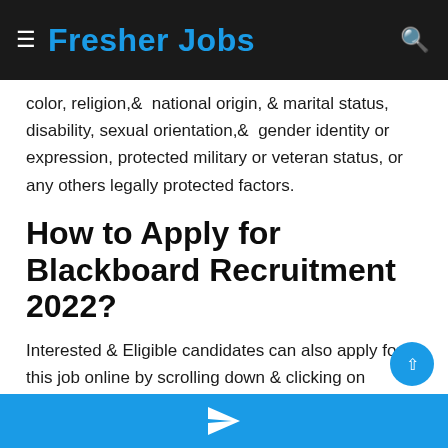Fresher Jobs
color, religion,&  national origin, & marital status, disability, sexual orientation,&  gender identity or expression, protected military or veteran status, or any others legally protected factors.
How to Apply for Blackboard Recruitment 2022?
Interested & Eligible candidates can also apply for this job online by scrolling down & clicking on APPLY NOW.